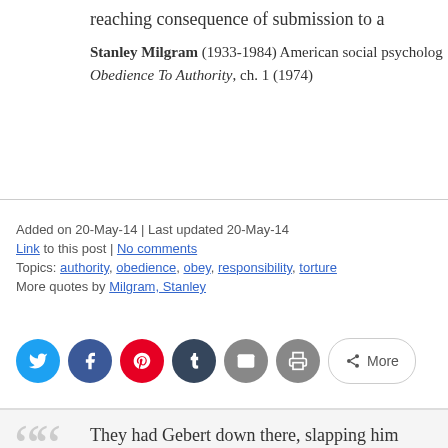reaching consequence of submission to au
Stanley Milgram (1933-1984) American social psychologist. Obedience To Authority, ch. 1 (1974)
Added on 20-May-14 | Last updated 20-May-14
Link to this post | No comments
Topics: authority, obedience, obey, responsibility, torture
More quotes by Milgram, Stanley
[Figure (infographic): Social share buttons: Twitter (blue circle), Facebook (dark blue circle), Pinterest (red circle), Tumblr (dark navy circle), Email (gray circle), Print (gray circle), More button (outlined pill)]
They had Gebert down there, slapping him squealing and yelling at him. If you're so su inferior technique, you should have seen th